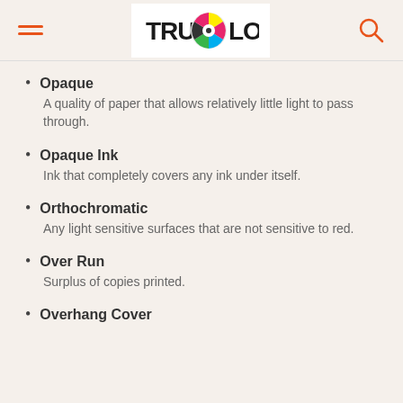TruColor
Opaque
A quality of paper that allows relatively little light to pass through.
Opaque Ink
Ink that completely covers any ink under itself.
Orthochromatic
Any light sensitive surfaces that are not sensitive to red.
Over Run
Surplus of copies printed.
Overhang Cover